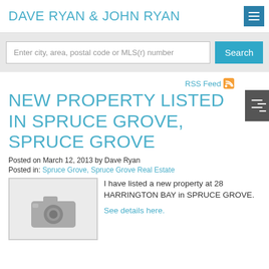DAVE RYAN & JOHN RYAN
Enter city, area, postal code or MLS(r) number
RSS Feed
NEW PROPERTY LISTED IN SPRUCE GROVE, SPRUCE GROVE
Posted on March 12, 2013 by Dave Ryan
Posted in: Spruce Grove, Spruce Grove Real Estate
[Figure (photo): Placeholder photo icon showing a camera outline on grey background]
I have listed a new property at 28 HARRINGTON BAY in SPRUCE GROVE.
See details here.